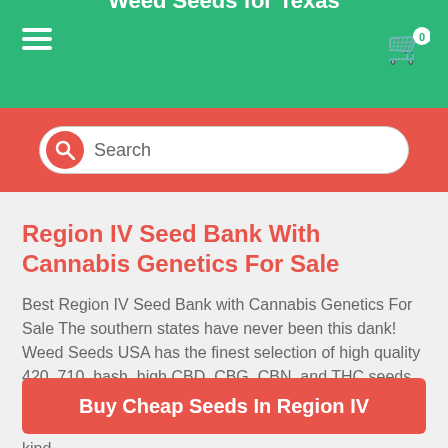Weed Seeds for Texas
[Figure (screenshot): Search bar with magnifying glass icon and placeholder text 'Search']
Region IV Seed Bank With Cannabis Genetics For Sale
Best Region IV Seed Bank with Cannabis Genetics For Sale The southern states have never been this dank! Weed Seeds USA has the finest selection of high quality 420, 710, hash, high CBD, CBG, CBN, and THC seeds in the country. Our autoflowering varieties create faster, tougher crops that are mold resistant and don't need the kind...
Buy Cheap Seeds In Region IV